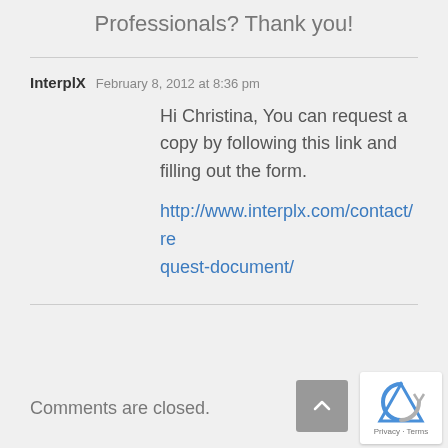Professionals? Thank you!
InterplX   February 8, 2012 at 8:36 pm
Hi Christina, You can request a copy by following this link and filling out the form.

http://www.interplx.com/contact/request-document/
Comments are closed.